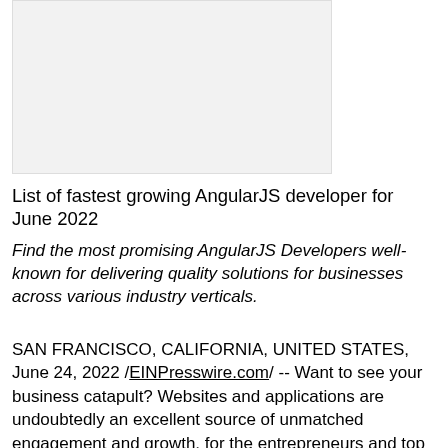[Figure (photo): Light gray rectangular placeholder image area]
List of fastest growing AngularJS developer for June 2022
Find the most promising AngularJS Developers well-known for delivering quality solutions for businesses across various industry verticals.
SAN FRANCISCO, CALIFORNIA, UNITED STATES, June 24, 2022 /EINPresswire.com/ -- Want to see your business catapult? Websites and applications are undoubtedly an excellent source of unmatched engagement and growth, for the entrepreneurs and top decision makers for a business.